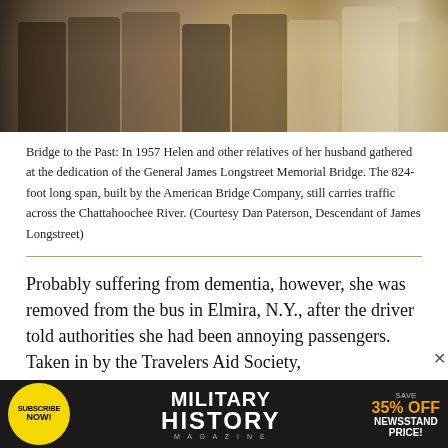[Figure (photo): Sepia-toned black and white photograph showing a group of people, likely Helen and relatives of her husband, gathered at the dedication of the General James Longstreet Memorial Bridge in 1957. Several figures are visible, including a woman in a polka dot dress.]
Bridge to the Past: In 1957 Helen and other relatives of her husband gathered at the dedication of the General James Longstreet Memorial Bridge. The 824-foot long span, built by the American Bridge Company, still carries traffic across the Chattahoochee River. (Courtesy Dan Paterson, Descendant of James Longstreet)
Probably suffering from dementia, however, she was removed from the bus in Elmira, N.Y., after the driver told authorities she had been annoying passengers. Taken in by the Travelers Aid Society,
[Figure (screenshot): Advertisement banner for Military History Magazine. Shows a yellow circular badge with 'SUBSCRIBE NOW!', the text 'MILITARY HISTORY MAGAZINE' in large white bold letters on black background, and 'SAVE 35% OFF NEWSSTAND PRICE!' in orange/yellow bold text on the right.]